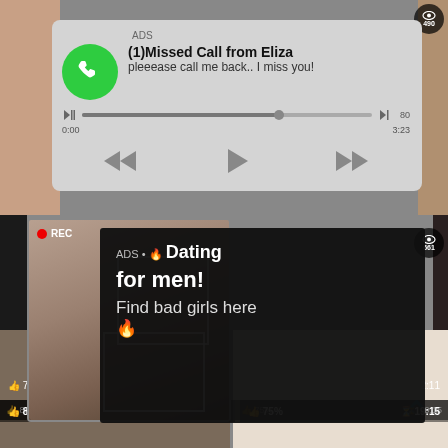[Figure (screenshot): Background video thumbnail grid showing adult content website with multiple video thumbnails]
[Figure (infographic): Ad overlay: missed call notification from Eliza with phone icon, audio player bar showing 3:23 duration at 0:00, with playback controls]
ADS
(1)Missed Call from Eliza
pleeease call me back.. I miss you!
0:00
3:23
[Figure (photo): REC photo of woman taking selfie in mirror with focus boxes overlaid, REC badge in top left]
[Figure (infographic): Dark ad overlay: ADS • Dating for men! Find bad girls here with emoji]
ADS • 🔥 Dating for men! Find bad girls here 🔥
85%
12:01
75%
19:15
[Figure (photo): Bottom left thumbnail: woman with laptop]
[Figure (photo): Bottom right thumbnail: woman, light background with chevron up arrow]
667
490
661